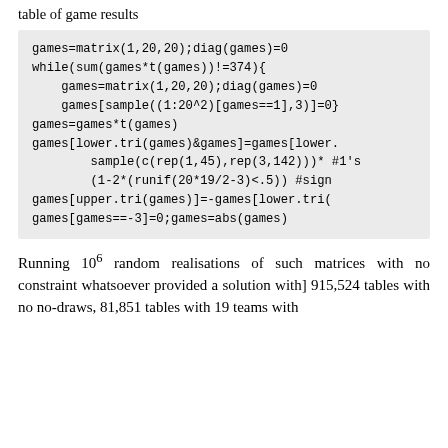table of game results
games=matrix(1,20,20);diag(games)=0
while(sum(games*t(games))!=374){
    games=matrix(1,20,20);diag(games)=0
    games[sample((1:20^2)[games==1],3)]=0}
games=games*t(games)
games[lower.tri(games)&games]=games[lower.
        sample(c(rep(1,45),rep(3,142)))* #1's
        (1-2*(runif(20*19/2-3)<.5)) #sign
games[upper.tri(games)]=-games[lower.tri(
games[games==-3]=0;games=abs(games)
Running 10^6 random realisations of such matrices with no constraint whatsoever provided a solution with] 915,524 tables with no no-draws, 81,851 tables with 19 teams with